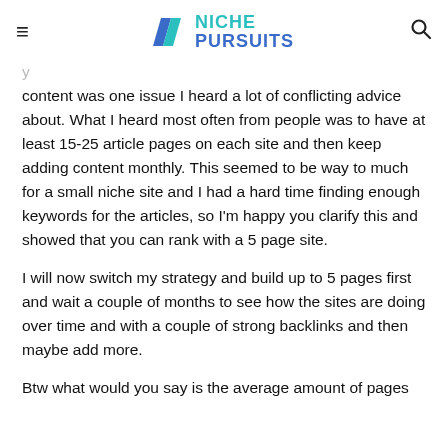Niche Pursuits
content was one issue I heard a lot of conflicting advice about. What I heard most often from people was to have at least 15-25 article pages on each site and then keep adding content monthly. This seemed to be way to much for a small niche site and I had a hard time finding enough keywords for the articles, so I'm happy you clarify this and showed that you can rank with a 5 page site.
I will now switch my strategy and build up to 5 pages first and wait a couple of months to see how the sites are doing over time and with a couple of strong backlinks and then maybe add more.
Btw what would you say is the average amount of pages